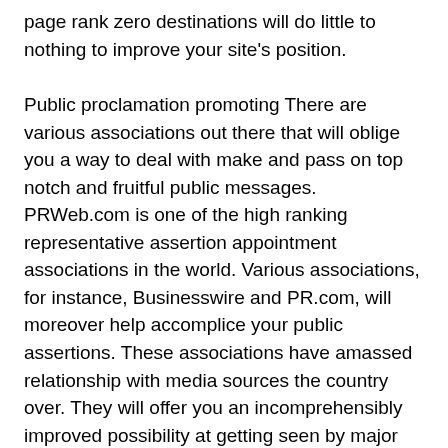page rank zero destinations will do little to nothing to improve your site's position.
Public proclamation promoting There are various associations out there that will oblige you a way to deal with make and pass on top notch and fruitful public messages. PRWeb.com is one of the high ranking representative assertion appointment associations in the world. Various associations, for instance, Businesswire and PR.com, will moreover help accomplice your public assertions. These associations have amassed relationship with media sources the country over. They will offer you an incomprehensibly improved possibility at getting seen by major and minor media sources similarly as editors looking for a story to create. Public proclamation promoting costs money; notwithstanding, it will be a helpful premium in your displaying framework at whatever point used satisfactorily and dependably.
The site smoothing out techniques recorded above can take any brilliant idea and spot it at the most elevated place of the web files. In fact, if these strategies are executed